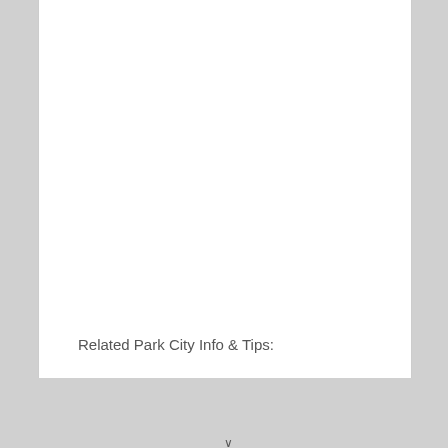Related Park City Info & Tips:
↓